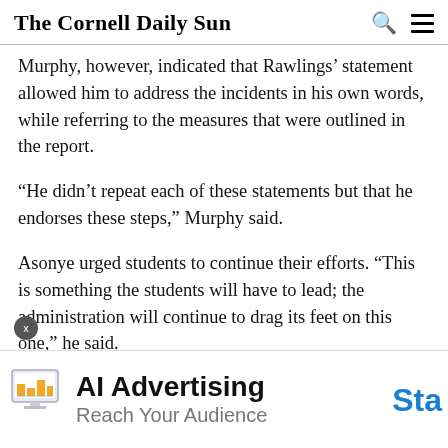The Cornell Daily Sun
Murphy, however, indicated that Rawlings’ statement allowed him to address the incidents in his own words, while referring to the measures that were outlined in the report.
“He didn’t repeat each of these statements but that he endorses these steps,” Murphy said.
Asonye urged students to continue their efforts. “This is something the students will have to lead; the administration will continue to drag its feet on this one,” he said.
[Figure (infographic): Advertisement banner: AI Advertising, Reach Your Audience, with a graphic of a laptop/monitor and a blue 'Sta' button partially visible on the right.]